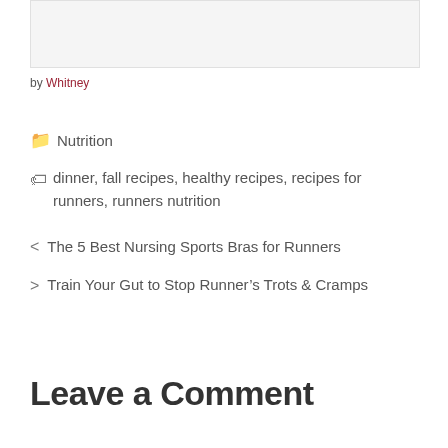[Figure (photo): Image placeholder at top of page]
by Whitney
📁 Nutrition
🏷 dinner, fall recipes, healthy recipes, recipes for runners, runners nutrition
< The 5 Best Nursing Sports Bras for Runners
> Train Your Gut to Stop Runner's Trots & Cramps
Leave a Comment